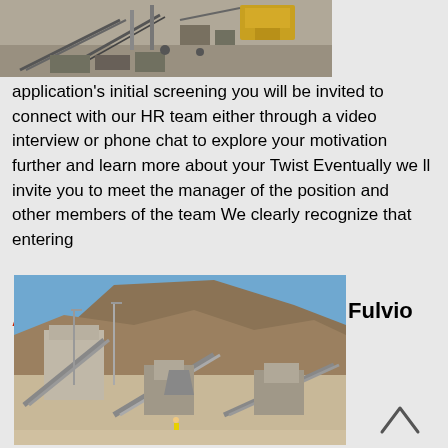[Figure (photo): Aerial view of industrial mining/crushing equipment and conveyor belts on a construction or quarry site, with yellow machinery visible]
application's initial screening you will be invited to connect with our HR team either through a video interview or phone chat to explore your motivation further and learn more about your Twist Eventually we ll invite you to meet the manager of the position and other members of the team We clearly recognize that entering
Acheter maintenant
[Figure (photo): Quarry or mining site with industrial crushing/screening plant equipment, conveyor belts, set against a rocky hillside under blue sky]
Fulvio